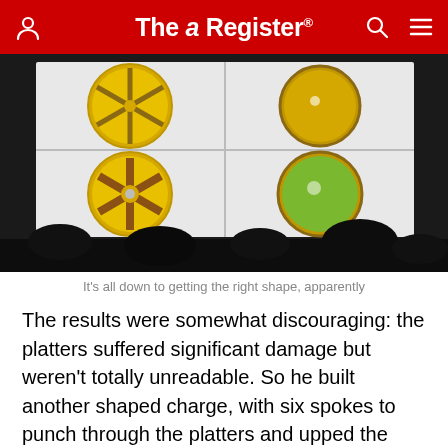The Register
[Figure (photo): Projection screen showing four views of yellow disc-shaped objects (shaped charges/platters): top-left shows a disc with triangular segments, top-right shows a plain disc from above, bottom-left shows a disc with six radial spokes, bottom-right shows a disc filled with green material. Audience silhouettes visible at bottom.]
It's all down to getting the right shape, apparently
The results were somewhat discouraging: the platters suffered significant damage but weren't totally unreadable. So he built another shaped charge, with six spokes to punch through the platters and upped the amount of explosives, which worked a treat.
The bomb squad also gave him a couple of shaped